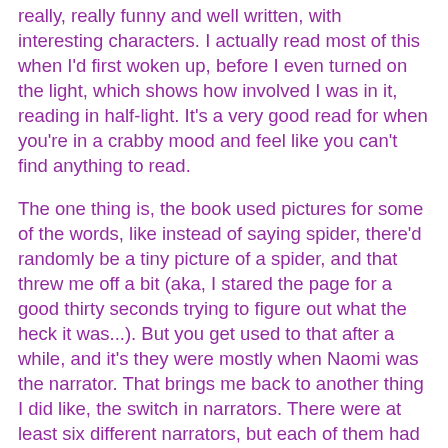really, really funny and well written, with interesting characters. I actually read most of this when I'd first woken up, before I even turned on the light, which shows how involved I was in it, reading in half-light. It's a very good read for when you're in a crabby mood and feel like you can't find anything to read.
The one thing is, the book used pictures for some of the words, like instead of saying spider, there'd randomly be a tiny picture of a spider, and that threw me off a bit (aka, I stared the page for a good thirty seconds trying to figure out what the heck it was...). But you get used to that after a while, and it's they were mostly when Naomi was the narrator. That brings me back to another thing I did like, the switch in narrators. There were at least six different narrators, but each of them had their own unique voice, so that you could tell exactly who was telling you what was happening. And it wasn't confusing at all like that can so easily be.
Conclusion: A very good read, good for a crabby mood. I'd recommend this to older readers, though, as there is some